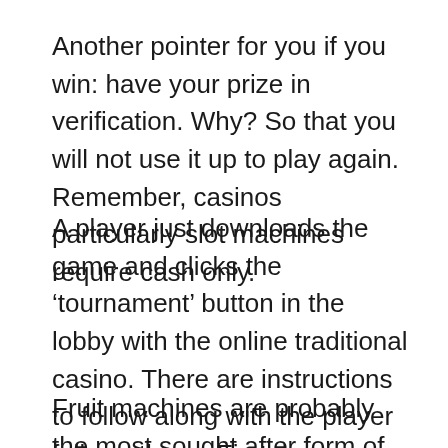Another pointer for you if you win: have your prize in verification. Why? So that you will not use it up to play again. Remember, casinos particularly slot machines require cash only.
A player just downloads the game and clicks the ‘tournament’ button in the lobby with the online traditional casino. There are instructions to follow along with the player follows these. First, he registers and after that, she can see just how far he through using the chef. The entrance fee costs as low as $2 to $5 just one day.
Fruit machines are probably the most sought after form of entertainment in bars, casinos